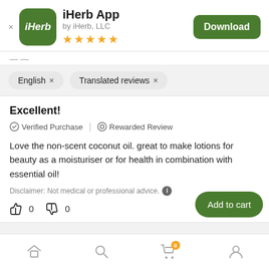[Figure (screenshot): iHerb app banner with green icon, app name 'iHerb App', 'by iHerb, LLC', 5 stars, and Download button]
English × Translated reviews ×
Excellent!
✓ Verified Purchase | ⊙ Rewarded Review
Love the non-scent coconut oil. great to make lotions for beauty as a moisturiser or for health in combination with essential oil!
Disclaimer: Not medical or professional advice.
👍 0   👎 0   Report
[Figure (screenshot): Bottom navigation bar with home, search, cart (badge 0), and profile icons]